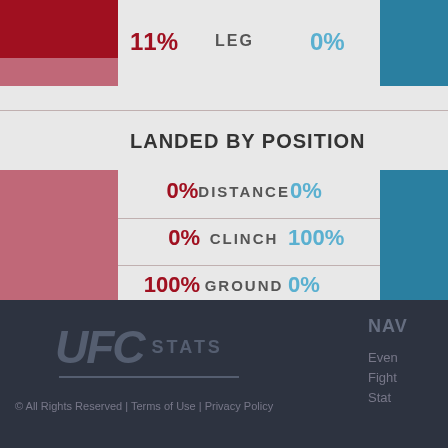[Figure (bar-chart): LEG]
LANDED BY POSITION
[Figure (bar-chart): LANDED BY POSITION]
[Figure (logo): UFC STATS logo]
© All Rights Reserved | Terms of Use | Privacy Policy
NAV
Even
Fight
Stat